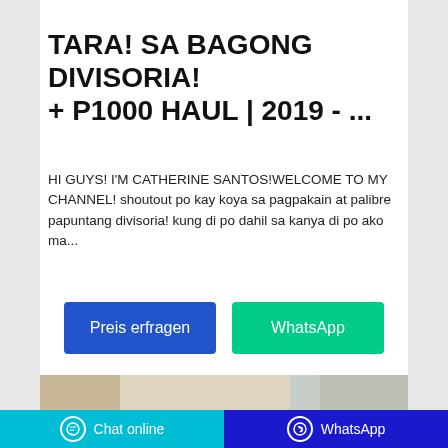[Figure (photo): Partial product/scene image at top of card]
TARA! SA BAGONG DIVISORIA! + P1000 HAUL | 2019 - ...
HI GUYS! I'M CATHERINE SANTOS!WELCOME TO MY CHANNEL! shoutout po kay koya sa pagpakain at palibre papuntang divisoria! kung di po dahil sa kanya di po ako ma...
[Figure (screenshot): Two call-to-action buttons: 'Preis erfragen' (blue) and 'WhatsApp' (green)]
[Figure (photo): Partial image of person at bottom of card]
Chat online    WhatsApp